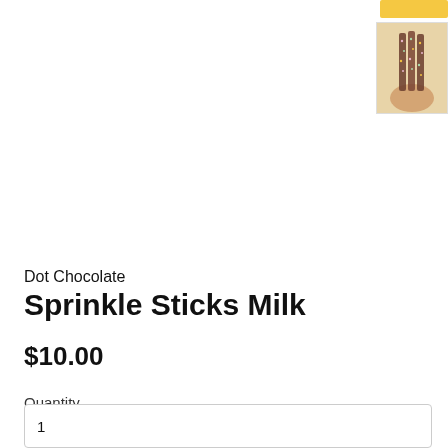[Figure (photo): Small thumbnail image of a hand holding chocolate sprinkle sticks, with a warm beige background. Above the photo is a partial golden/amber colored button or banner.]
Dot Chocolate
Sprinkle Sticks Milk
$10.00
Quantity
1